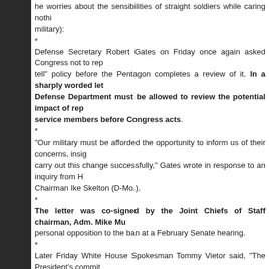he worries about the sensibilities of straight soldiers while caring nothing for those in the military):
*
Defense Secretary Robert Gates on Friday once again asked Congress not to repeal the "don't ask, don't tell" policy before the Pentagon completes a review of it. In a sharply worded letter, Gates said the Defense Department must be allowed to review the potential impact of repeal on service members before Congress acts.
*
"Our military must be afforded the opportunity to inform us of their concerns, insights and suggestions to carry out this change successfully," Gates wrote in response to an inquiry from House Armed Services Chairman Ike Skelton (D-Mo.).
*
The letter was co-signed by the Joint Chiefs of Staff chairman, Adm. Mike Mullen, who expressed his personal opposition to the ban at a February Senate hearing.
*
Later Friday White House Spokesman Tommy Vietor said, "The President's commitment to repeal don't ask, don't tell is unequivocal. This is not a question of if, but how. That's why we've said all along that any congressional repeal will be delayed until the DOD study of how best to implement the repeal is complete. The President is committed to getting this done both soon and right."
Gates Letter to Skelton